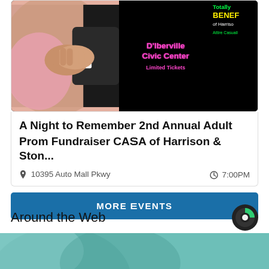[Figure (photo): Event promotional image with handshake photo on left, D'Iberville Civic Center text in center on black background with pink text, and partial event details on right with yellow/green text on black background]
A Night to Remember 2nd Annual Adult Prom Fundraiser CASA of Harrison & Ston...
10395 Auto Mall Pkwy   7:00PM
MORE EVENTS
Around the Web
[Figure (photo): Partial bottom image strip showing teal/green tones, likely a person photo]